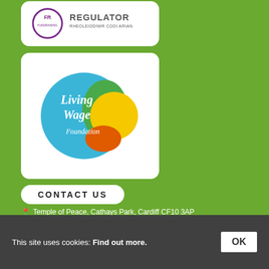[Figure (logo): Fundraising Regulator logo - circular purple/white logo with text REGULATOR and RHEOLEIDDIWR CODI ARIAN]
[Figure (logo): Living Wage Foundation logo - blue circle with overlapping green and yellow/orange shapes]
CONTACT US
Temple of Peace, Cathays Park, Cardiff CF10 3AP
07863 433 478
info@sizeofwales.org.uk
press@sizeofwales.org.uk
This site uses cookies: Find out more.